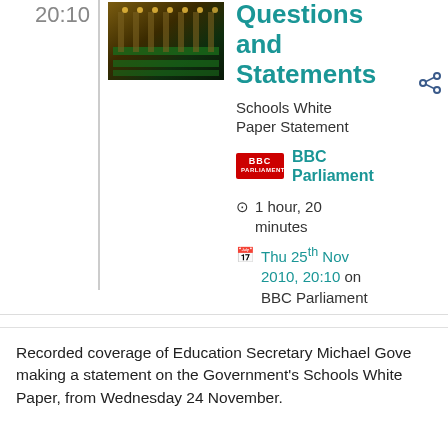20:10
[Figure (photo): Interior of a parliamentary chamber at night with green leather benches lit up]
Questions and Statements
Schools White Paper Statement
[Figure (logo): BBC Parliament logo - red rectangle with BBC Parliament text]
BBC Parliament
1 hour, 20 minutes
Thu 25th Nov 2010, 20:10 on BBC Parliament
Recorded coverage of Education Secretary Michael Gove making a statement on the Government's Schools White Paper, from Wednesday 24 November.